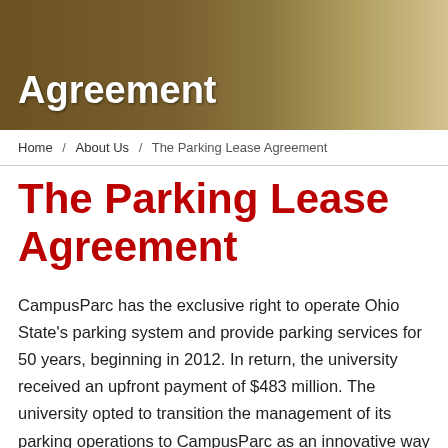[Figure (photo): Hero banner image with a dark golden-brown background showing what appears to be a desk/document surface, with white bold text reading 'Agreement' overlaid.]
Home / About Us / The Parking Lease Agreement
The Parking Lease Agreement
CampusParc has the exclusive right to operate Ohio State's parking system and provide parking services for 50 years, beginning in 2012. In return, the university received an upfront payment of $483 million. The university opted to transition the management of its parking operations to CampusParc as an innovative way